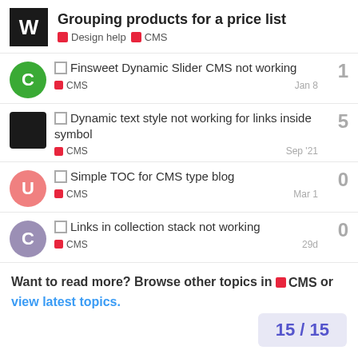Grouping products for a price list — Design help / CMS
Finsweet Dynamic Slider CMS not working — CMS — Jan 8 — replies: 1
Dynamic text style not working for links inside symbol — CMS — Sep '21 — replies: 5
Simple TOC for CMS type blog — CMS — Mar 1 — replies: 0
Links in collection stack not working — CMS — 29d — replies: 0
Want to read more? Browse other topics in CMS or view latest topics.
15 / 15